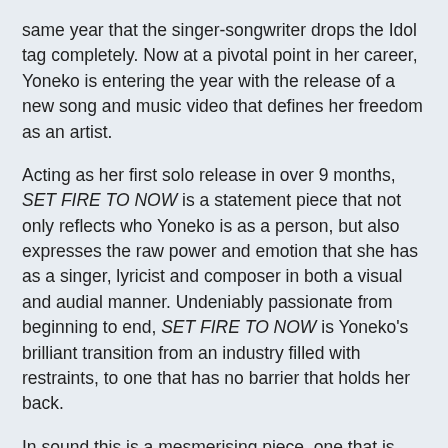same year that the singer-songwriter drops the Idol tag completely. Now at a pivotal point in her career, Yoneko is entering the year with the release of a new song and music video that defines her freedom as an artist.
Acting as her first solo release in over 9 months, SET FIRE TO NOW is a statement piece that not only reflects who Yoneko is as a person, but also expresses the raw power and emotion that she has as a singer, lyricist and composer in both a visual and audial manner. Undeniably passionate from beginning to end, SET FIRE TO NOW is Yoneko's brilliant transition from an industry filled with restraints, to one that has no barrier that holds her back.
In sound this is a mesmerising piece, one that is inexplicably freeing thanks to its almost ethereal sound mixed with the textured beauty of the post-rock genre. Though it may seem like a more soothing song from the start, SET FIRE TO NOW progresses in a striking way, and will undoubtedly surprise and impress even Yoneko's most dedicated listeners.